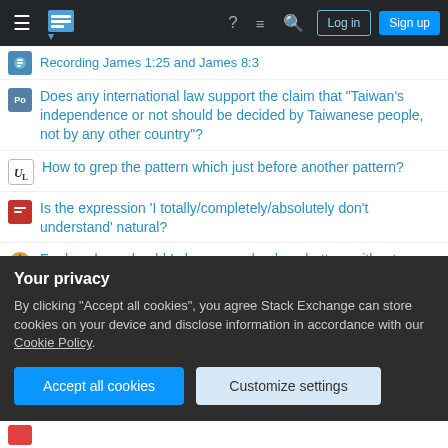Stack Exchange navigation bar with Log in and Sign up buttons
Recording James 1:25 and James 8:3
Does any international law support the claim that "Taiwan's independence or not should be decided by Taiwanese people, not by any other country"?
How to grep the pattern which just before another pattern?
Is the expression 'I totally/completely/absolutely don't understand' natural?
For how long should I charge my dead car battery without damaging it?
Are heavy elements equally distributed throughout the Solar System?
Are airships practical in a world without much metal?
Your privacy
By clicking "Accept all cookies", you agree Stack Exchange can store cookies on your device and disclose information in accordance with our Cookie Policy.
Accept all cookies | Customize settings